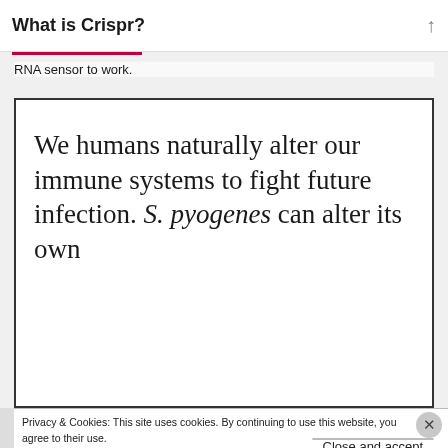What is Crispr?
RNA sensor to work.
We humans naturally alter our immune systems to fight future infection. S. pyogenes can alter its own
Privacy & Cookies: This site uses cookies. By continuing to use this website, you agree to their use.
To find out more, including how to control cookies, see here: Cookie Policy
Close and accept